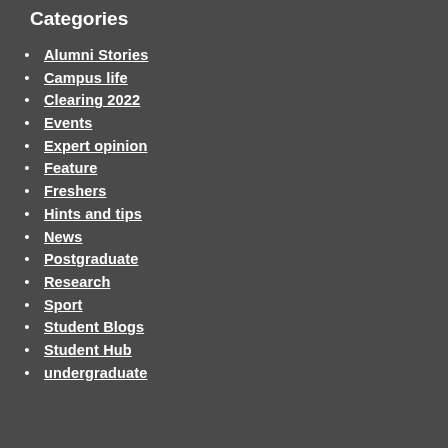Categories
Alumni Stories
Campus life
Clearing 2022
Events
Expert opinion
Feature
Freshers
Hints and tips
News
Postgraduate
Research
Sport
Student Blogs
Student Hub
undergraduate